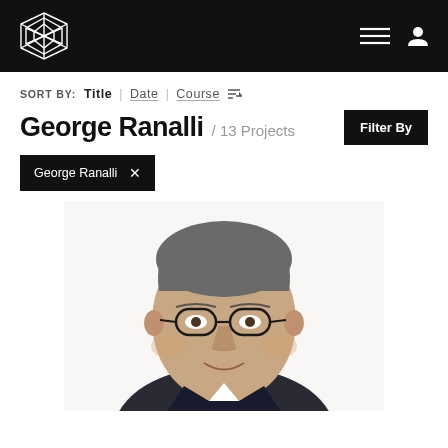Navigation header with logo and menu icons
SORT BY: Title | Date | Course
George Ranalli / 13 Projects
Filter By
George Ranalli ✕
[Figure (photo): Headshot photo of George Ranalli, a middle-aged man with glasses, grey hair, wearing dark clothing, smiling slightly, white background]